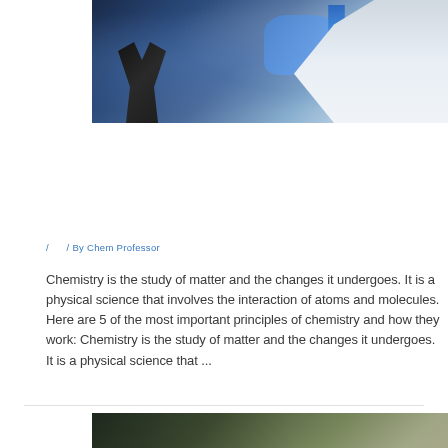[Figure (photo): Scientist in a white lab coat wearing blue gloves holding a flask with blue liquid, with a microscope in the background]
/ / By Chem Professor
Chemistry is the study of matter and the changes it undergoes. It is a physical science that involves the interaction of atoms and molecules. Here are 5 of the most important principles of chemistry and how they work: Chemistry is the study of matter and the changes it undergoes. It is a physical science that ...
[Figure (photo): Lab scene with equipment on a bench, partially visible at bottom of page]